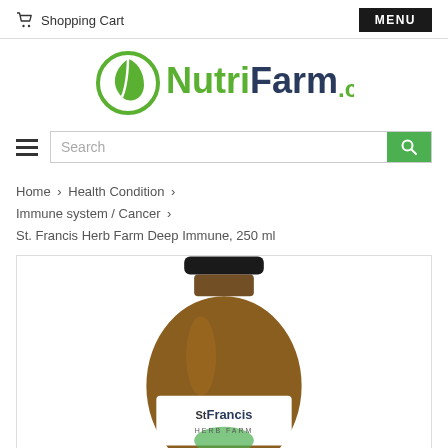Shopping Cart   MENU
[Figure (logo): NutriFarm.ca logo with green leaf icon]
Search
Home › Health Condition › Immune system / Cancer › St. Francis Herb Farm Deep Immune, 250 ml
[Figure (photo): Amber glass bottle of St. Francis Herb Farm Deep Immune 250 ml supplement]